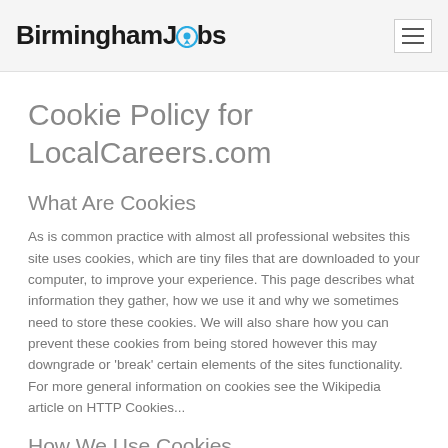BirminghamJobs
Cookie Policy for LocalCareers.com
What Are Cookies
As is common practice with almost all professional websites this site uses cookies, which are tiny files that are downloaded to your computer, to improve your experience. This page describes what information they gather, how we use it and why we sometimes need to store these cookies. We will also share how you can prevent these cookies from being stored however this may downgrade or 'break' certain elements of the sites functionality. For more general information on cookies see the Wikipedia article on HTTP Cookies...
How We Use Cookies